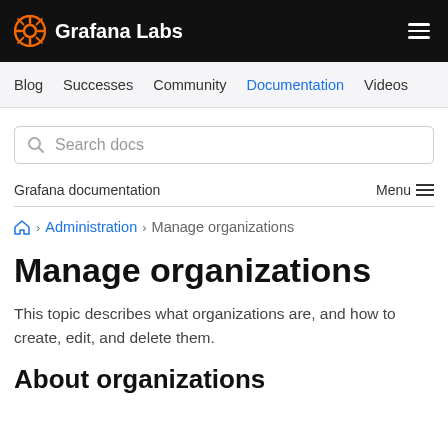Grafana Labs
Blog  Successes  Community  Documentation  Videos
Search docs
Grafana documentation   Menu
Home › Administration › Manage organizations
Manage organizations
This topic describes what organizations are, and how to create, edit, and delete them.
About organizations